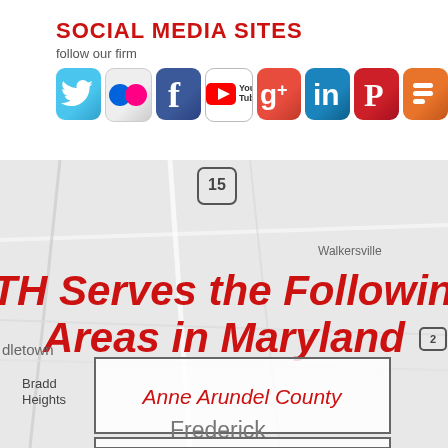SOCIAL MEDIA SITES
follow our firm
[Figure (illustration): Row of social media icons: Twitter, Flickr, Facebook, YouTube, Google+, LinkedIn, Pinterest, Blogger]
[Figure (map): Map of Maryland showing Walkersville, Braddock Heights, Frederick area with route 15 marked]
LTH Serves the Following Areas in Maryland
Anne Arundel County